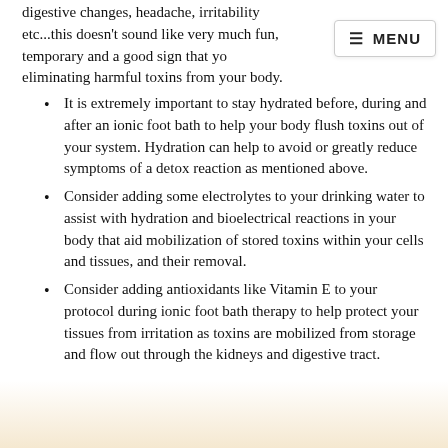digestive changes, headache, irritability etc...this doesn't sound like very much fun, temporary and a good sign that you are eliminating harmful toxins from your body.
It is extremely important to stay hydrated before, during and after an ionic foot bath to help your body flush toxins out of your system. Hydration can help to avoid or greatly reduce symptoms of a detox reaction as mentioned above.
Consider adding some electrolytes to your drinking water to assist with hydration and bioelectrical reactions in your body that aid mobilization of stored toxins within your cells and tissues, and their removal.
Consider adding antioxidants like Vitamin E to your protocol during ionic foot bath therapy to help protect your tissues from irritation as toxins are mobilized from storage and flow out through the kidneys and digestive tract.